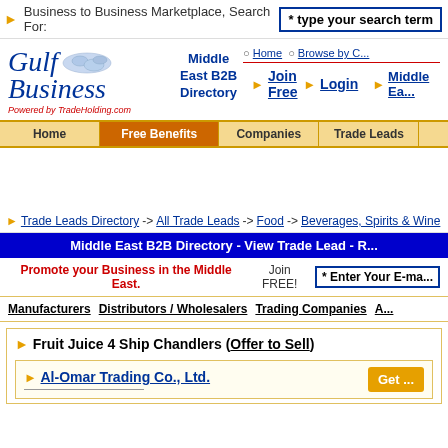Business to Business Marketplace, Search For: [* type your search term]
[Figure (logo): Gulf Business logo with Middle East map, Powered by TradeHolding.com]
Middle East B2B Directory
Home  Browse by C...
Join Free  Login  Middle Ea...
| Home | Free Benefits | Companies | Trade Leads |
| --- | --- | --- | --- |
Trade Leads Directory -> All Trade Leads -> Food -> Beverages, Spirits & Wine
Middle East B2B Directory - View Trade Lead - R...
Promote your Business in the Middle East. Join FREE! * Enter Your E-ma...
Manufacturers  Distributors / Wholesalers  Trading Companies  A...
Fruit Juice 4 Ship Chandlers (Offer to Sell)
Al-Omar Trading Co., Ltd.
Get ...